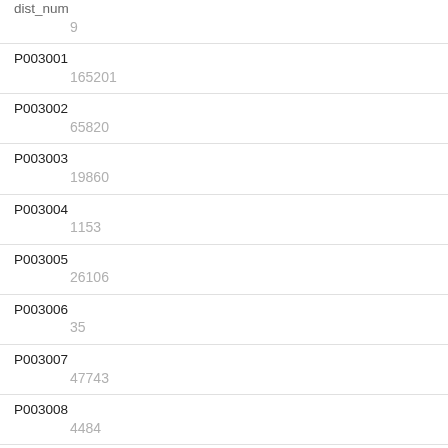| dist_num |
| --- |
| 9 |
| P003001 | 165201 |
| P003002 | 65820 |
| P003003 | 19860 |
| P003004 | 1153 |
| P003005 | 26106 |
| P003006 | 35 |
| P003007 | 47743 |
| P003008 | 4484 |
| P005001 | 165201 |
| P005002 |  |